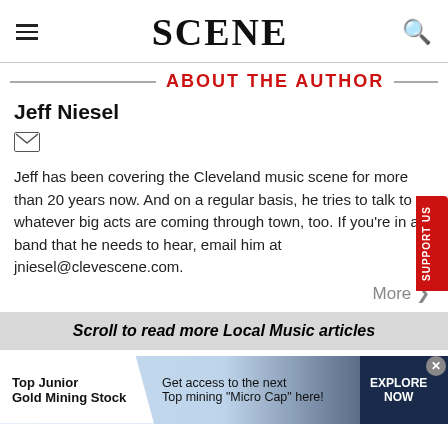SCENE
ABOUT THE AUTHOR
Jeff Niesel
Jeff has been covering the Cleveland music scene for more than 20 years now. And on a regular basis, he tries to talk to whatever big acts are coming through town, too. If you're in a band that he needs to hear, email him at jniesel@clevescene.com.
More >
Scroll to read more Local Music articles
[Figure (other): Advertisement banner: Top Junior Gold Mining Stock. Get access to the next Top mining "Micro Cap" here! EXPLORE NOW]